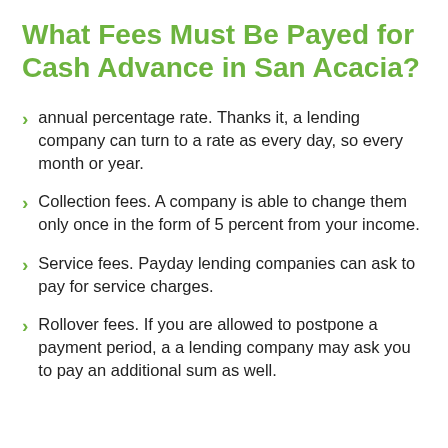What Fees Must Be Payed for Cash Advance in San Acacia?
annual percentage rate. Thanks it, a lending company can turn to a rate as every day, so every month or year.
Collection fees. A company is able to change them only once in the form of 5 percent from your income.
Service fees. Payday lending companies can ask to pay for service charges.
Rollover fees. If you are allowed to postpone a payment period, a a lending company may ask you to pay an additional sum as well.